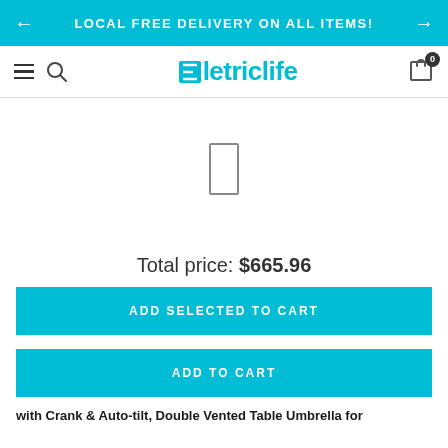LOCAL FREE DELIVERY ON ALL ITEMS!
[Figure (logo): Eletriclife store logo with hamburger menu, search icon, and cart icon showing 0 items]
[Figure (photo): Product image area with a small rectangular placeholder icon in center]
Total price: $665.96
ADD SELECTED TO CART
ADD TO CART
with Crank & Auto-tilt, Double Vented Table Umbrella for